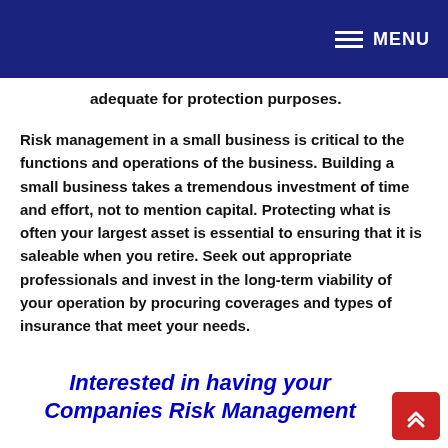MENU
adequate for protection purposes.
Risk management in a small business is critical to the functions and operations of the business. Building a small business takes a tremendous investment of time and effort, not to mention capital. Protecting what is often your largest asset is essential to ensuring that it is saleable when you retire. Seek out appropriate professionals and invest in the long-term viability of your operation by procuring coverages and types of insurance that meet your needs.
Interested in having your Companies Risk Management